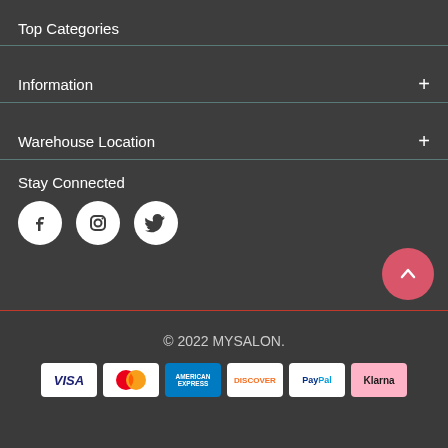Top Categories
Information
Warehouse Location
Stay Connected
[Figure (illustration): Social media icons: Facebook, Instagram, Twitter (white circles on dark background)]
[Figure (illustration): Pink circular shopping cart button top right, and pink circular back-to-top arrow button bottom right]
© 2022 MYSALON.
[Figure (illustration): Payment method logos: VISA, Mastercard, American Express, Discover, PayPal, Klarna]